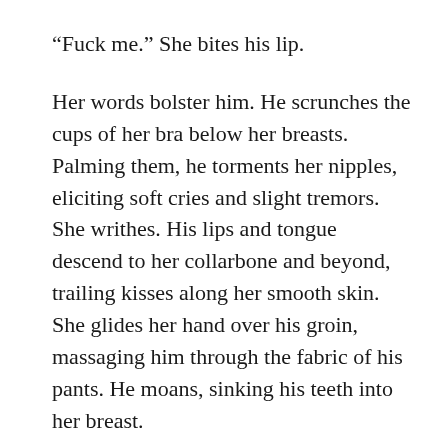“Fuck me.” She bites his lip.
Her words bolster him. He scrunches the cups of her bra below her breasts. Palming them, he torments her nipples, eliciting soft cries and slight tremors. She writhes. His lips and tongue descend to her collarbone and beyond, trailing kisses along her smooth skin. She glides her hand over his groin, massaging him through the fabric of his pants. He moans, sinking his teeth into her breast.
“We don’t have much time,” she whispers.
He grunts.
His tongue flutters over her nipple. She unzips his fly and reaches in, fumbling past the layer of